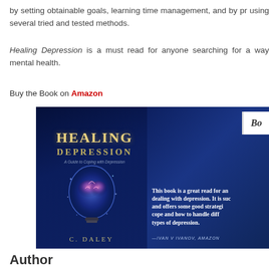by setting obtainable goals, learning time management, and by pr using several tried and tested methods.
Healing Depression is a must read for anyone searching for a way mental health.
Buy the Book on Amazon
[Figure (photo): Book cover for 'Healing Depression: A Guide to Coping with Depression' by C. Daley, shown alongside an Amazon review quote and light bulb imagery. The review states: 'This book is a great read for an dealing with depression. It is suc and offers some good strategi cope and how to handle diff types of depression.' -IVAN V IVANOV, AMAZON]
Author